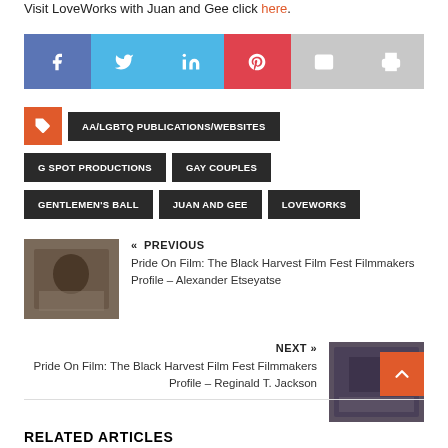Visit LoveWorks with Juan and Gee click here.
[Figure (infographic): Social media sharing buttons: Facebook, Twitter, LinkedIn, Pinterest, Email, Print]
AA/LGBTQ PUBLICATIONS/WEBSITES
G SPOT PRODUCTIONS
GAY COUPLES
GENTLEMEN'S BALL
JUAN AND GEE
LOVEWORKS
« PREVIOUS
Pride On Film: The Black Harvest Film Fest Filmmakers Profile – Alexander Etseyatse
NEXT »
Pride On Film: The Black Harvest Film Fest Filmmakers Profile – Reginald T. Jackson
RELATED ARTICLES